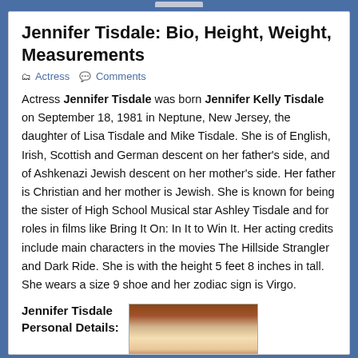Jennifer Tisdale: Bio, Height, Weight, Measurements
Actress   Comments
Actress Jennifer Tisdale was born Jennifer Kelly Tisdale on September 18, 1981 in Neptune, New Jersey, the daughter of Lisa Tisdale and Mike Tisdale. She is of English, Irish, Scottish and German descent on her father’s side, and of Ashkenazi Jewish descent on her mother’s side. Her father is Christian and her mother is Jewish. She is known for being the sister of High School Musical star Ashley Tisdale and for roles in films like Bring It On: In It to Win It. Her acting credits include main characters in the movies The Hillside Strangler and Dark Ride. She is with the height 5 feet 8 inches in tall. She wears a size 9 shoe and her zodiac sign is Virgo.
Jennifer Tisdale
Personal Details:
[Figure (photo): Photo of Jennifer Tisdale, a woman with blonde hair outdoors]